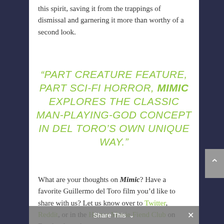this spirit, saving it from the trappings of dismissal and garnering it more than worthy of a second look.
“PART CREATURE FEATURE, PART SCI-FI HORROR, MIMIC EXPLORES THE CLASSIC MAN-PLAYING-GOD CONCEPT IN DEL TORO’S OWN UNIQUE WAY.”
What are your thoughts on Mimic? Have a favorite Guillermo del Toro film you’d like to share with us? Let us know over to Twitter, Reddit, or in the Horror Movie Fiend Club on Facebook, and get
Share This